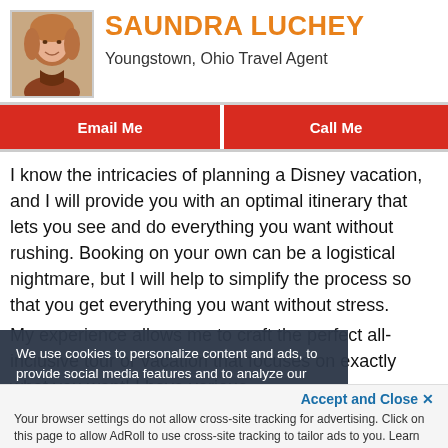SAUNDRA LUCHEY
Youngstown, Ohio Travel Agent
Email Me
Call Me
I know the intricacies of planning a Disney vacation, and I will provide you with an optimal itinerary that lets you see and do everything you want without rushing. Booking on your own can be a logistical nightmare, but I will help to simplify the process so that you get everything you want without stress.
My experience allows me to craft the perfect all-inclusive tour or vacation that focuses on exactly what you want!  I have various
We use cookies to personalize content and ads, to provide social media features and to analyze our traffic. We also share information about your use of our site with our social media, advertising and analytics partners.
Accept and Close ✕
Your browser settings do not allow cross-site tracking for advertising. Click on this page to allow AdRoll to use cross-site tracking to tailor ads to you. Learn more or opt out of this AdRoll tracking by clicking here. This message only appears once.